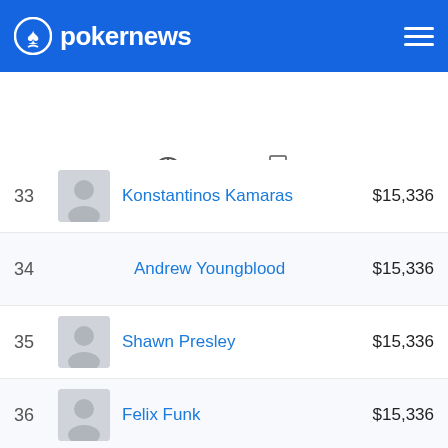pokernews
[Figure (screenshot): Navigation tabs: UPDATES, CHIPS, FOTOGALERIE, AUSZAHLUNGEN (active)]
| # |  | Name | Amount |
| --- | --- | --- | --- |
| 33 | (avatar) | Konstantinos Kamaras | $15,336 |
| 34 |  | Andrew Youngblood | $15,336 |
| 35 | (avatar) | Shawn Presley | $15,336 |
| 36 | (avatar) | Felix Funk | $15,336 |
| 37 |  | Nicholas Immekus | $12,541 |